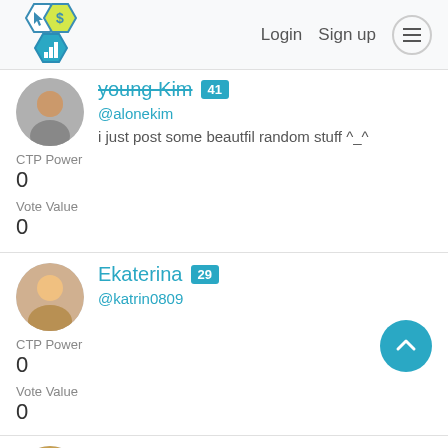Login  Sign up
young Kim  @alonekim
i just post some beautfil random stuff ^_^
CTP Power
0
Vote Value
0
Ekaterina  29
@katrin0809
CTP Power
0
Vote Value
0
PlayBoy  19
@umeshyouwe